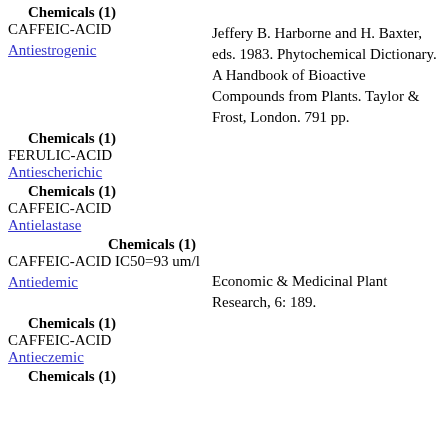Chemicals (1)
CAFFEIC-ACID
Antiestrogenic
Jeffery B. Harborne and H. Baxter, eds. 1983. Phytochemical Dictionary. A Handbook of Bioactive Compounds from Plants. Taylor & Frost, London. 791 pp.
Chemicals (1)
FERULIC-ACID
Antiescherichic
Chemicals (1)
CAFFEIC-ACID
Antielastase
Chemicals (1)
CAFFEIC-ACID IC50=93 um/l
Antiedemic
Economic & Medicinal Plant Research, 6: 189.
Chemicals (1)
CAFFEIC-ACID
Antieczemic
Chemicals (1)